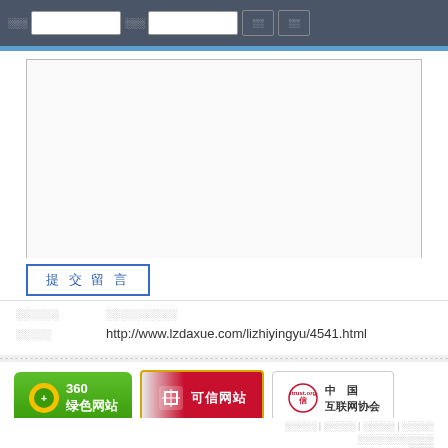网站截图页面 — 搜索框、登录框、搜索按钮、登录按钮
[Figure (screenshot): Textarea input area for message submission, white background with light border]
提交留言
本文标题  ░░░░░░░░░░
本文链接  http://www.lzdaxue.com/lizhiyingyu/4541.html
[Figure (logo): 360绿色网站 badge — green background with 360 logo]
[Figure (logo): 可信网站 badge — red/white background]
[Figure (logo): 中国互联网协会 trust badge]
░░░░░ | ░░░░░ | ░░░░░ | ░░░░░
░░░░░░░░░░░░